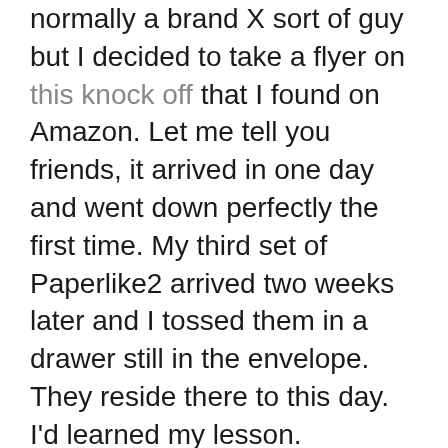normally a brand X sort of guy but I decided to take a flyer on this knock off that I found on Amazon. Let me tell you friends, it arrived in one day and went down perfectly the first time. My third set of Paperlike2 arrived two weeks later and I tossed them in a drawer still in the envelope. They reside there to this day. I'd learned my lesson.
All of this is not to rag on Paperlike. Their customer service team is first-rate and I ADORED their original product aside from that rainbow effect but in their successful attempt to reduce that minor annoyance they greatly reduced the ability to apply it cleanly and air bubbles are WAY more